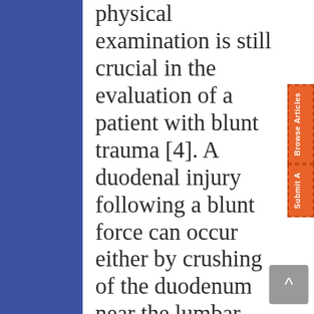physical examination is still crucial in the evaluation of a patient with blunt trauma [4]. A duodenal injury following a blunt force can occur either by crushing of the duodenum near the lumbar spine which is a rigid structure, or shear forces which